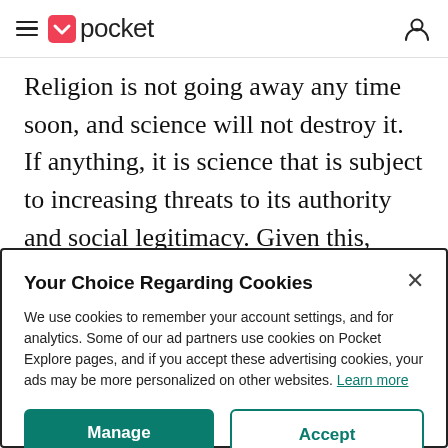pocket
Religion is not going away any time soon, and science will not destroy it. If anything, it is science that is subject to increasing threats to its authority and social legitimacy. Given this,
Your Choice Regarding Cookies
We use cookies to remember your account settings, and for analytics. Some of our ad partners use cookies on Pocket Explore pages, and if you accept these advertising cookies, your ads may be more personalized on other websites. Learn more
Manage
Accept